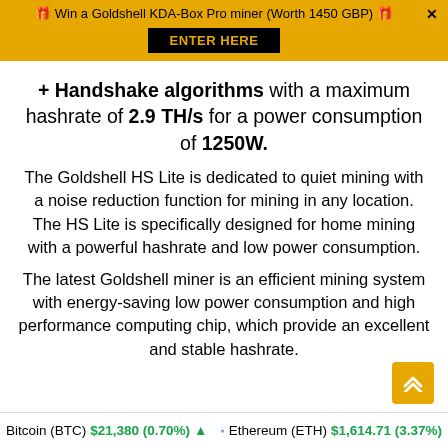🎁 Win a Goldshell KDA-Box Pro miner (Worth 1450 GBP) 🎁 ENTER HERE
+ Handshake algorithms with a maximum hashrate of 2.9 TH/s for a power consumption of 1250W.
The Goldshell HS Lite is dedicated to quiet mining with a noise reduction function for mining in any location. The HS Lite is specifically designed for home mining with a powerful hashrate and low power consumption.
The latest Goldshell miner is an efficient mining system with energy-saving low power consumption and high performance computing chip, which provide an excellent and stable hashrate.
Bitcoin (BTC) $21,380 (0.70%) ▲  Ethereum (ETH) $1,614.71 (3.37%)